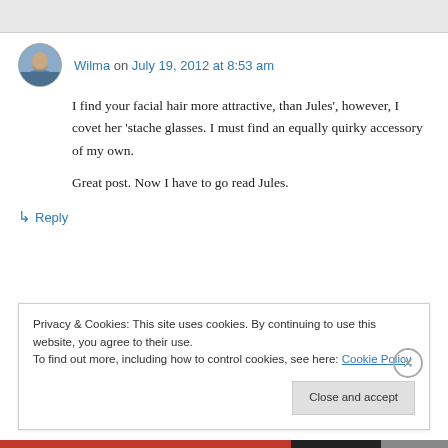[Figure (photo): Top gray decorative bar]
Wilma on July 19, 2012 at 8:53 am
I find your facial hair more attractive, than Jules', however, I covet her 'stache glasses. I must find an equally quirky accessory of my own.

Great post. Now I have to go read Jules.
↳ Reply
Privacy & Cookies: This site uses cookies. By continuing to use this website, you agree to their use.
To find out more, including how to control cookies, see here: Cookie Policy